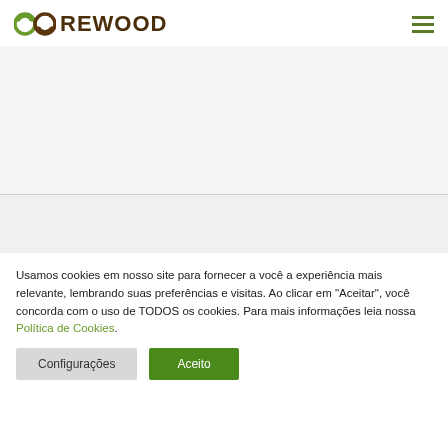REWOOD
[Figure (illustration): Light gray placeholder image area below the header navigation]
[Figure (illustration): Light gray secondary content area below divider]
Usamos cookies em nosso site para fornecer a você a experiência mais relevante, lembrando suas preferências e visitas. Ao clicar em "Aceitar", você concorda com o uso de TODOS os cookies. Para mais informações leia nossa Política de Cookies.
Configurações
Aceito